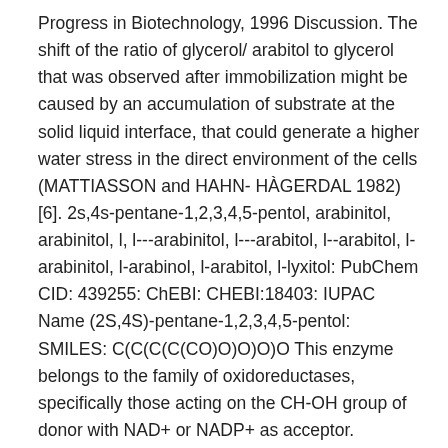Progress in Biotechnology, 1996 Discussion. The shift of the ratio of glycerol/ arabitol to glycerol that was observed after immobilization might be caused by an accumulation of substrate at the solid liquid interface, that could generate a higher water stress in the direct environment of the cells (MATTIASSON and HAHN- HÀGERDAL 1982) [6]. 2s,4s-pentane-1,2,3,4,5-pentol, arabinitol, arabinitol, l, l---arabinitol, l---arabitol, l--arabitol, l-arabinitol, l-arabinol, l-arabitol, l-lyxitol: PubChem CID: 439255: ChEBI: CHEBI:18403: IUPAC Name (2S,4S)-pentane-1,2,3,4,5-pentol: SMILES: C(C(C(C(CO)O)O)O)O This enzyme belongs to the family of oxidoreductases, specifically those acting on the CH-OH group of donor with NAD+ or NADP+ as acceptor.